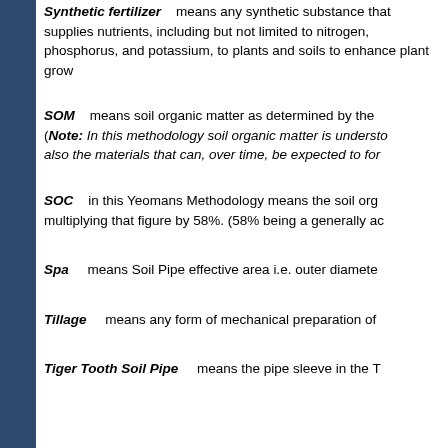Synthetic fertilizer    means any synthetic substance that supplies nutrients, including but not limited to nitrogen, phosphorus, and potassium, to plants and soils to enhance plant grow…
SOM    means soil organic matter as determined by the … (Note: In this methodology soil organic matter is understo… also the materials that can, over time, be expected to for…
SOC    in this Yeomans Methodology means the soil org… multiplying that figure by 58%. (58% being a generally ac…
Spa    means Soil Pipe effective area i.e. outer diamete…
Tillage    means any form of mechanical preparation of…
Tiger Tooth Soil Pipe    means the pipe sleeve in the T…